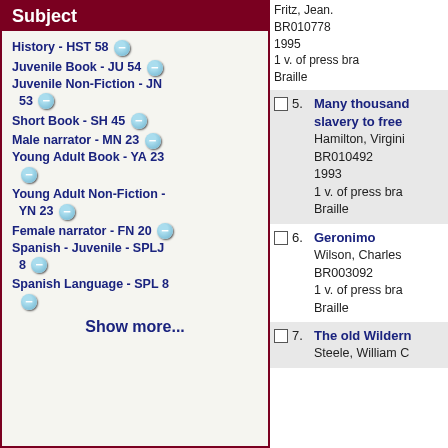Subject
History - HST 58
Juvenile Book - JU 54
Juvenile Non-Fiction - JN 53
Short Book - SH 45
Male narrator - MN 23
Young Adult Book - YA 23
Young Adult Non-Fiction - YN 23
Female narrator - FN 20
Spanish - Juvenile - SPLJ 8
Spanish Language - SPL 8
Show more...
Fritz, Jean.
BR010778
1995
1 v. of press bra
Braille
5. Many thousand slavery to free
Hamilton, Virgini
BR010492
1993
1 v. of press bra
Braille
6. Geronimo
Wilson, Charles
BR003092
1 v. of press bra
Braille
7. The old Wildern
Steele, William C